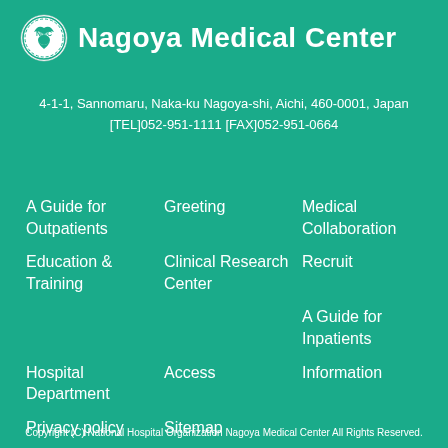[Figure (logo): NMC (Nagoya Medical Center) circular logo with bird/eagle emblem in white on teal background]
Nagoya Medical Center
4-1-1, Sannomaru, Naka-ku Nagoya-shi, Aichi, 460-0001, Japan
[TEL]052-951-1111 [FAX]052-951-0664
A Guide for Outpatients
Greeting
Medical Collaboration
Education & Training
Clinical Research Center
Recruit
A Guide for Inpatients
Hospital Department
Access
Information
Privacy policy
Sitemap
Copyright (C) National Hospital Organization Nagoya Medical Center All Rights Reserved.